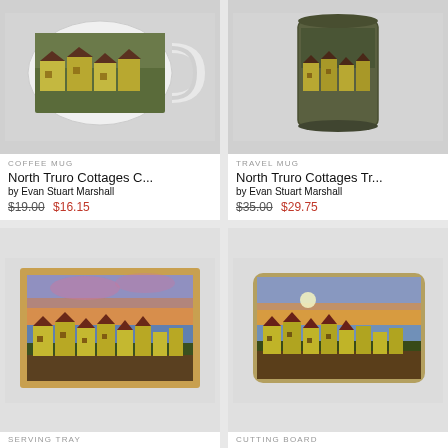[Figure (photo): Coffee mug with North Truro Cottages artwork, white mug shown at angle on light gray background]
COFFEE MUG
North Truro Cottages C...
by Evan Stuart Marshall
$19.00  $16.15
[Figure (photo): Travel mug with North Truro Cottages artwork, dark olive/green travel mug on light gray background]
TRAVEL MUG
North Truro Cottages Tr...
by Evan Stuart Marshall
$35.00  $29.75
[Figure (photo): Framed tray with North Truro Cottages painting in wooden frame showing row of yellow cottages at sunset with colorful sky]
SERVING TRAY
[Figure (photo): Cutting board with North Truro Cottages painting showing row of yellow cottages at dusk with moon rising]
CUTTING BOARD